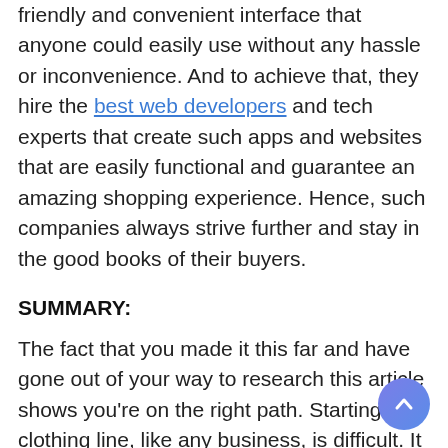friendly and convenient interface that anyone could easily use without any hassle or inconvenience. And to achieve that, they hire the best web developers and tech experts that create such apps and websites that are easily functional and guarantee an amazing shopping experience. Hence, such companies always strive further and stay in the good books of their buyers.
SUMMARY:
The fact that you made it this far and have gone out of your way to research this article shows you're on the right path. Starting a clothing line, like any business, is difficult. It involves a lot of very unique skills but one that must always prevail is